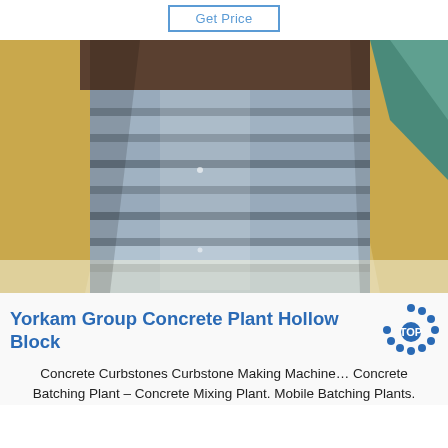Get Price
[Figure (photo): Metal sheets or steel panels wrapped in protective beige/cream packaging material and plastic wrap, viewed from above inside a shipping crate or packaging box.]
Yorkam Group Concrete Plant Hollow Block
Concrete Curbstones Curbstone Making Machine… Concrete Batching Plant – Concrete Mixing Plant. Mobile Batching Plants.